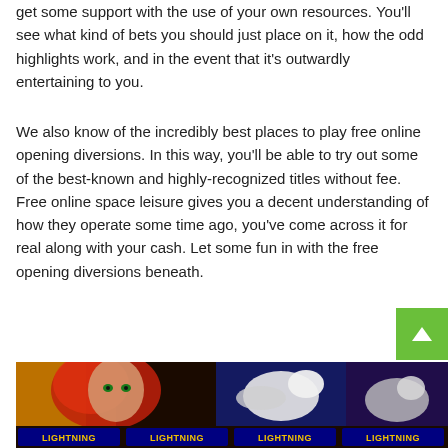get some support with the use of your own resources. You'll see what kind of bets you should just place on it, how the odd highlights work, and in the event that it's outwardly entertaining to you.
We also know of the incredibly best places to play free online opening diversions. In this way, you'll be able to try out some of the best-known and highly-recognized titles without fee. Free online space leisure gives you a decent understanding of how they operate some time ago, you've come across it for real along with your cash. Let some fun in with the free opening diversions beneath.
[Figure (screenshot): Screenshot of a slot machine game showing colorful reels with a woman with red hair, a white bird/swan, and LIGHTNING text at the bottom of the reels on a dark background.]